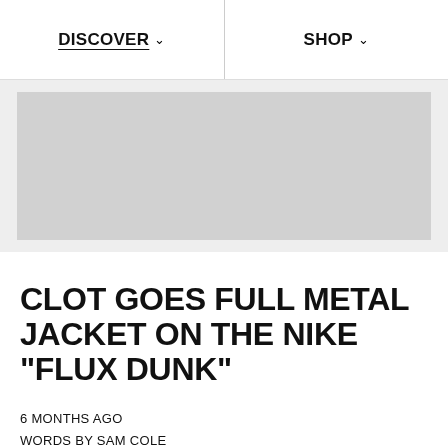DISCOVER   SHOP
[Figure (photo): Hero image placeholder — light gray rectangular banner image area]
CLOT GOES FULL METAL JACKET ON THE NIKE "FLUX DUNK"
6 MONTHS AGO
WORDS BY SAM COLE